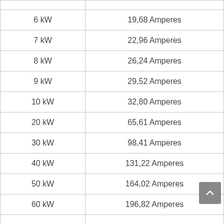| Power | Current |
| --- | --- |
| 6 kW | 19,68 Amperes |
| 7 kW | 22,96 Amperes |
| 8 kW | 26,24 Amperes |
| 9 kW | 29,52 Amperes |
| 10 kW | 32,80 Amperes |
| 20 kW | 65,61 Amperes |
| 30 kW | 98,41 Amperes |
| 40 kW | 131,22 Amperes |
| 50 kW | 164,02 Amperes |
| 60 kW | 196,82 Amperes |